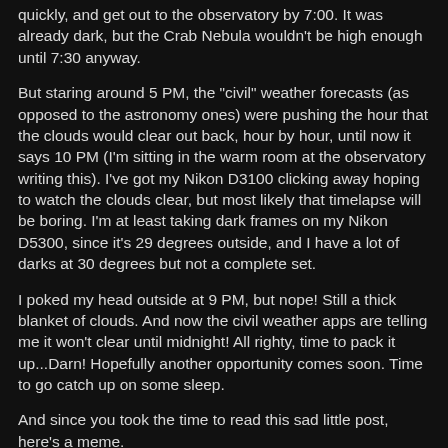quickly, and get out to the observatory by 7:00.  It was already dark, but the Crab Nebula wouldn't be high enough until 7:30 anyway.
But staring around 5 PM, the "civil" weather forecasts (as opposed to the astronomy ones) were pushing the hour that the clouds would clear out back, hour by hour, until now it says 10 PM (I'm sitting in the warm room at the observatory writing this).  I've got my Nikon D3100 clicking away hoping to watch the clouds clear, but most likely that timelapse will be boring.  I'm at least taking dark frames on my Nikon D5300, since it's 29 degrees outside, and I have a lot of darks at 30 degrees but not a complete set.
I poked my head outside at 9 PM, but nope!  Still a thick blanket of clouds.  And now the civil weather apps are telling me it won't clear until midnight!  All righty, time to pack it up...Darn!  Hopefully another opportunity comes soon.  Time to go catch up on some sleep.
And since you took the time to read this sad little post, here's a meme.